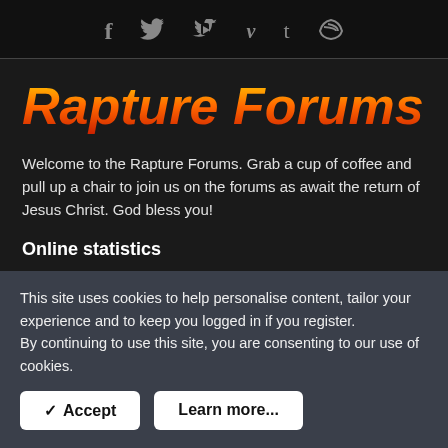f  y  ▶  v  t  RSS
Rapture Forums
Welcome to the Rapture Forums. Grab a cup of coffee and pull up a chair to join us on the forums as await the return of Jesus Christ. God bless you!
Online statistics
Members online: 22
This site uses cookies to help personalise content, tailor your experience and to keep you logged in if you register.
By continuing to use this site, you are consenting to our use of cookies.